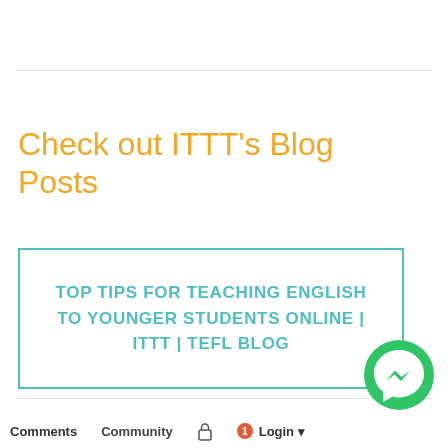Check out ITTT's Blog Posts
[Figure (other): Bordered teal box with blog post title text: TOP TIPS FOR TEACHING ENGLISH TO YOUNGER STUDENTS ONLINE | ITTT | TEFL BLOG]
[Figure (other): Green Facebook Messenger floating button icon]
Comments   Community   [lock icon]   1   Login